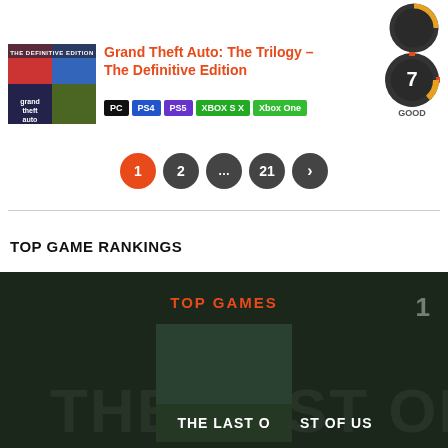[Figure (screenshot): Score badge showing '7 GOOD' in dark circular gauge, top-right corner]
[Figure (screenshot): Grand Theft Auto: The Trilogy - The Definitive Edition game thumbnail with multi-panel cover art]
Grand Theft Auto: The Trilogy – The Definitive Edition
PC  PS4  PS5  XBOX S X  Xbox One
[Figure (infographic): Score badge showing '7 GOOD' in dark circular donut chart with orange arc]
1  2  ...  21  >
TOP GAME RANKINGS
[Figure (screenshot): Dark background banner with TOP GAMES heading, rank number 1, and The Last of Us game cover]